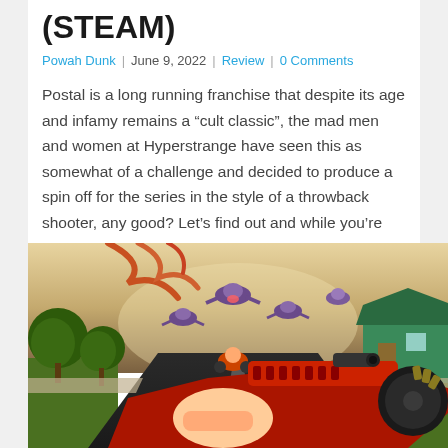(STEAM)
Powah Dunk | June 9, 2022 | Review | 0 Comments
Postal is a long running franchise that despite its age and infamy remains a “cult classic”, the mad men and women at Hyperstrange have seen this as somewhat of a challenge and decided to produce a spin off for the series in the style of a throwback shooter, any good? Let’s find out and while you’re there, sign my petition.
[Figure (screenshot): First-person shooter gameplay screenshot showing a suburban street scene with enemy characters flying in the sky, trees lining the road, a green house on the right, and a large red mechanical gun visible in the foreground held by the player.]